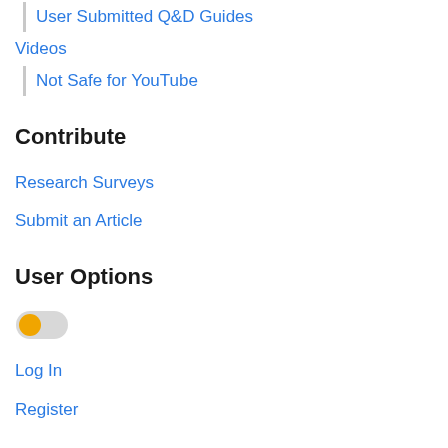User Submitted
Q&D Guides
Videos
Not Safe for YouTube
Contribute
Research Surveys
Submit an Article
User Options
[Figure (other): Toggle switch in off/left position with orange/yellow knob]
Log In
Register